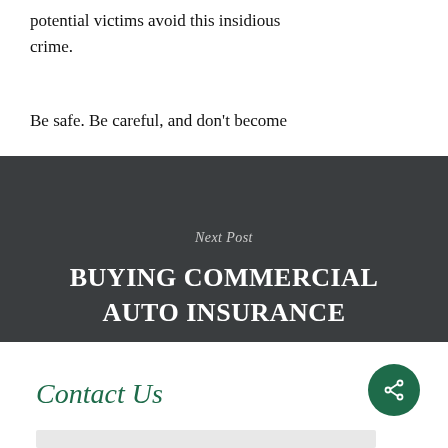potential victims avoid this insidious crime.
Be safe. Be careful, and don't become
Next Post
BUYING COMMERCIAL AUTO INSURANCE
Contact Us